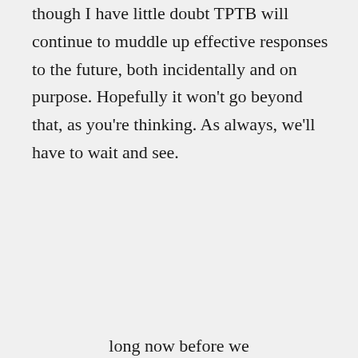though I have little doubt TPTB will continue to muddle up effective responses to the future, both incidentally and on purpose. Hopefully it won't go beyond that, as you're thinking. As always, we'll have to wait and see.
↳ Reply
Privacy & Cookies: This site uses cookies. By continuing to use this website, you agree to their use.
To find out more, including how to control cookies, see here: Cookie Policy
Close and accept
long now before we